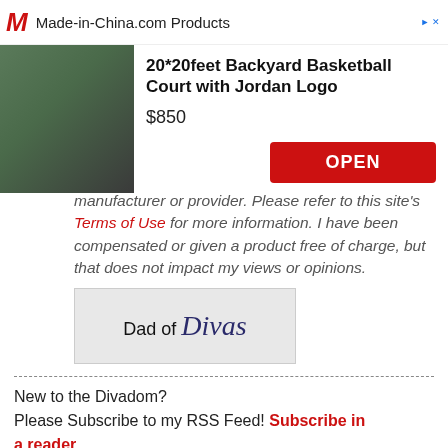[Figure (screenshot): Advertisement banner for Made-in-China.com showing a basketball court product]
manufacturer or provider. Please refer to this site's Terms of Use for more information. I have been compensated or given a product free of charge, but that does not impact my views or opinions.
[Figure (logo): Dad of Divas logo]
New to the Divadom?
Please Subscribe to my RSS Feed! Subscribe in a reader
Questions?Drop me a line at dadofdivas@gmail.com